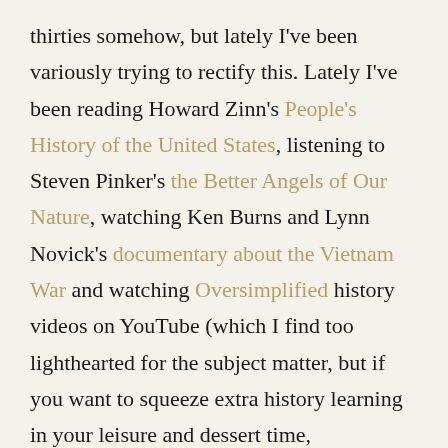thirties somehow, but lately I've been variously trying to rectify this. Lately I've been reading Howard Zinn's People's History of the United States, listening to Steven Pinker's the Better Angels of Our Nature, watching Ken Burns and Lynn Novick's documentary about the Vietnam War and watching Oversimplified history videos on YouTube (which I find too lighthearted for the subject matter, but if you want to squeeze extra history learning in your leisure and dessert time, compromises can be worth it.)